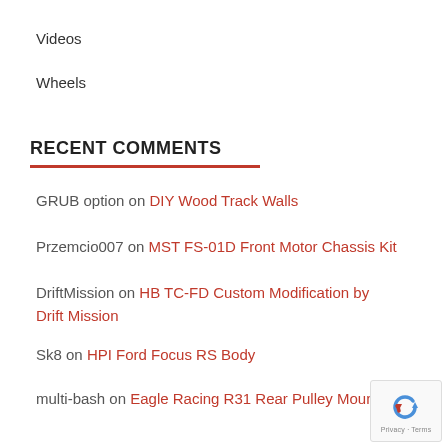Videos
Wheels
RECENT COMMENTS
GRUB option on DIY Wood Track Walls
Przemcio007 on MST FS-01D Front Motor Chassis Kit
DriftMission on HB TC-FD Custom Modification by Drift Mission
Sk8 on HPI Ford Focus RS Body
multi-bash on Eagle Racing R31 Rear Pulley Mount